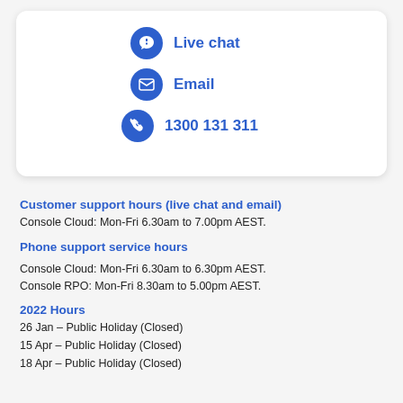[Figure (infographic): Card with three contact options: Live chat (speech bubble icon), Email (envelope icon), and phone number 1300 131 311 (phone icon), all in blue.]
Customer support hours (live chat and email)
Console Cloud: Mon-Fri 6.30am to 7.00pm AEST.
Phone support service hours
Console Cloud: Mon-Fri 6.30am to 6.30pm AEST.
Console RPO: Mon-Fri 8.30am to 5.00pm AEST.
2022 Hours
26 Jan – Public Holiday (Closed)
15 Apr – Public Holiday (Closed)
18 Apr – Public Holiday (Closed)